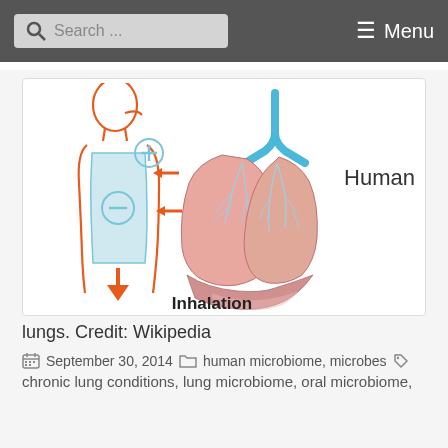Search ...   Menu
[Figure (illustration): Medical illustration showing inhalation: left side shows a human torso outline in orange with a blue highlighted lung region, arrows indicating air intake and expansion, plus and minus symbols showing pressure. Right side shows detailed anatomical lungs in pink with blue bronchial tree. Label 'Inhalation' at bottom center. 'Human' label at right.]
lungs. Credit: Wikipedia
September 30, 2014   human microbiome, microbes
chronic lung conditions, lung microbiome, oral microbiome,